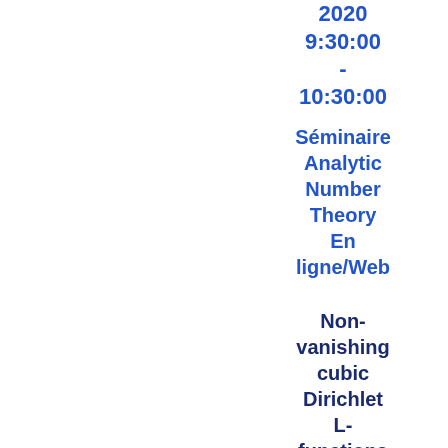2020 9:30:00 - 10:30:00
Séminaire Analytic Number Theory En ligne/Web
Non-vanishing cubic Dirichlet L-functions at s= 1/2
Chantal David,